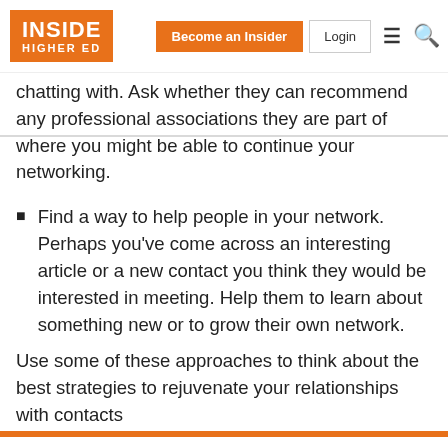INSIDE HIGHER ED | Become an Insider | Login
chatting with. Ask whether they can recommend any professional associations they are part of where you might be able to continue your networking.
Find a way to help people in your network. Perhaps you’ve come across an interesting article or a new contact you think they would be interested in meeting. Help them to learn about something new or to grow their own network.
Use some of these approaches to think about the best strategies to rejuvenate your relationships with contacts
5 of 5 articles left this month. Sign up for a free account or Log in.